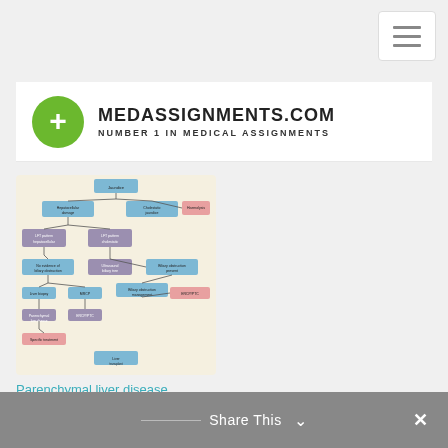[Figure (logo): MedAssignments.com logo with green circle containing white plus sign, followed by bold text MEDASSIGNMENTS.COM and subtitle NUMBER 1 IN MEDICAL ASSIGNMENTS]
[Figure (flowchart): Medical flowchart diagram for Parenchymal liver disease on a beige background, showing a hierarchical decision tree with blue, purple, and pink colored boxes connected by lines]
Parenchymal liver disease
Share This